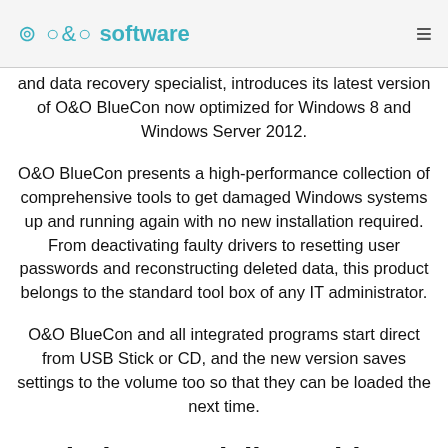O&O software
and data recovery specialist, introduces its latest version of O&O BlueCon now optimized for Windows 8 and Windows Server 2012.
O&O BlueCon presents a high-performance collection of comprehensive tools to get damaged Windows systems up and running again with no new installation required. From deactivating faulty drivers to resetting user passwords and reconstructing deleted data, this product belongs to the standard tool box of any IT administrator.
O&O BlueCon and all integrated programs start direct from USB Stick or CD, and the new version saves settings to the volume too so that they can be loaded the next time.
Solutions to daily problems with O&O BlueCon